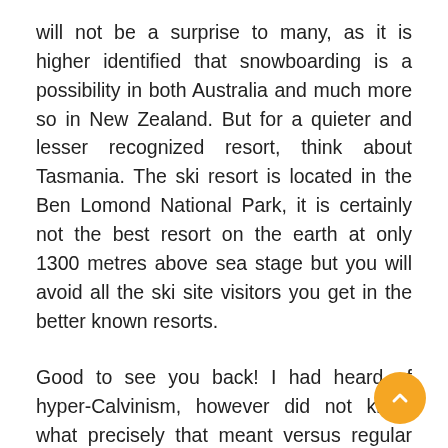will not be a surprise to many, as it is higher identified that snowboarding is a possibility in both Australia and much more so in New Zealand. But for a quieter and lesser recognized resort, think about Tasmania. The ski resort is located in the Ben Lomond National Park, it is certainly not the best resort on the earth at only 1300 metres above sea stage but you will avoid all the ski site visitors you get in the better known resorts.
Good to see you back! I had heard of hyper-Calvinism, however did not know what precisely that meant versus regular Calvinsim. For probably the most half my considerations on predestination I suppose usually aren't from the philosophical thought itself, but from most of the unsupported arguments/beliefs which can be usually practiced as a result of it. I hate when predestination is used